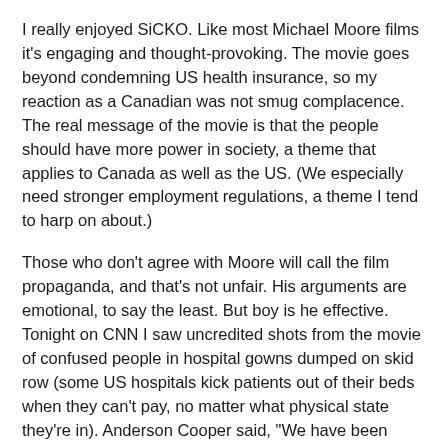I really enjoyed SiCKO. Like most Michael Moore films it's engaging and thought-provoking. The movie goes beyond condemning US health insurance, so my reaction as a Canadian was not smug complacence. The real message of the movie is that the people should have more power in society, a theme that applies to Canada as well as the US. (We especially need stronger employment regulations, a theme I tend to harp on about.)
Those who don't agree with Moore will call the film propaganda, and that's not unfair. His arguments are emotional, to say the least. But boy is he effective. Tonight on CNN I saw uncredited shots from the movie of confused people in hospital gowns dumped on skid row (some US hospitals kick patients out of their beds when they can't pay, no matter what physical state they're in). Anderson Cooper said, "We have been reporting on this issue for over a year and a half." Well I sure missed it. And haven't you noticed that all of a sudden you're hearing about how well France runs things? That's straight out of SiCKO.